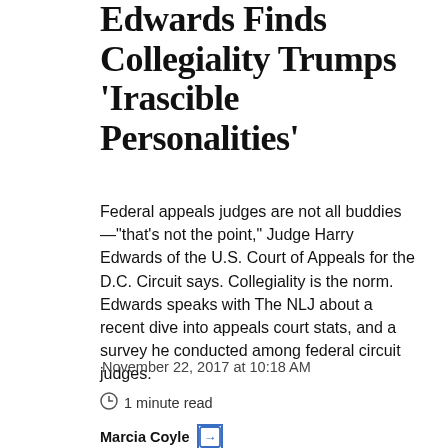Edwards Finds Collegiality Trumps 'Irascible Personalities'
Federal appeals judges are not all buddies —"that's not the point," Judge Harry Edwards of the U.S. Court of Appeals for the D.C. Circuit says. Collegiality is the norm. Edwards speaks with The NLJ about a recent dive into appeals court stats, and a survey he conducted among federal circuit judges.
November 22, 2017 at 10:18 AM
1 minute read
Marcia Coyle
The original version of this story was